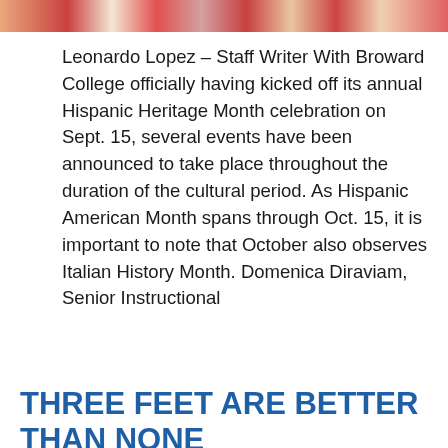[Figure (photo): Horizontal strip of colorful photos at the top of the page]
Leonardo Lopez – Staff Writer With Broward College officially having kicked off its annual Hispanic Heritage Month celebration on Sept. 15, several events have been announced to take place throughout the duration of the cultural period. As Hispanic American Month spans through Oct. 15, it is important to note that October also observes Italian History Month. Domenica Diraviam, Senior Instructional
READ MORE
BC News   BC Spotlight
THREE FEET ARE BETTER THAN NONE